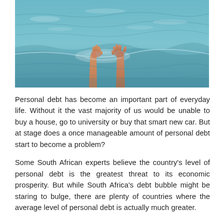[Figure (photo): Photograph of two human hands reaching up from the ocean water, evoking drowning — used to illustrate the concept of personal debt crisis.]
Personal debt has become an important part of everyday life. Without it the vast majority of us would be unable to buy a house, go to university or buy that smart new car. But at stage does a once manageable amount of personal debt start to become a problem?
Some South African experts believe the country's level of personal debt is the greatest threat to its economic prosperity. But while South Africa's debt bubble might be staring to bulge, there are plenty of countries where the average level of personal debt is actually much greater.